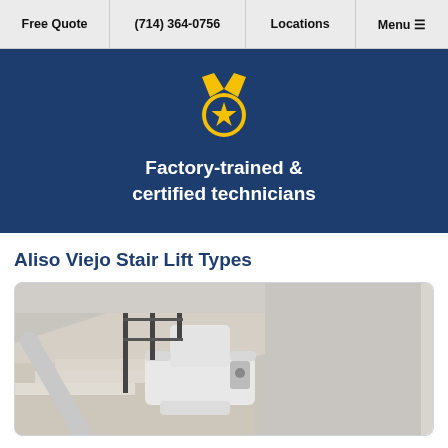Free Quote | (714) 364-0756 | Locations | Menu
[Figure (illustration): Medal/badge icon with a star in the center and yellow ribbon straps on a dark blue background]
Factory-trained & certified technicians
Aliso Viejo Stair Lift Types
[Figure (photo): Photo of a white stair lift chair mounted on a curved staircase railing, with a black sofa visible in the background living room]